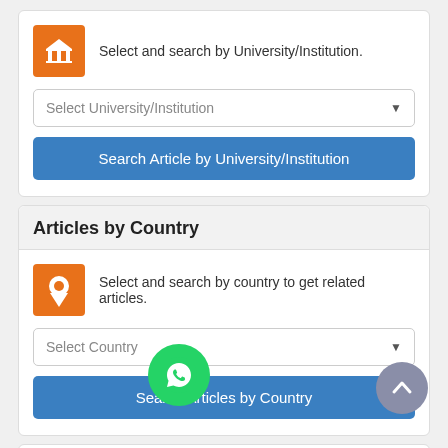[Figure (screenshot): Orange institution icon with white building/columns symbol]
Select and search by University/Institution.
Select University/Institution
Search Article by University/Institution
Articles by Country
[Figure (illustration): Orange location pin icon]
Select and search by country to get related articles.
Select Country
Search Articles by Country
— All … in 2022
[Figure (illustration): Green WhatsApp floating button]
[Figure (illustration): Grey back-to-top arrow button]